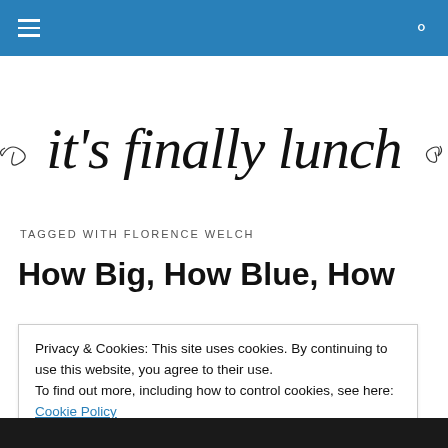Navigation bar with hamburger menu and search icon
it's finally lunch
TAGGED WITH FLORENCE WELCH
How Big, How Blue, How
Privacy & Cookies: This site uses cookies. By continuing to use this website, you agree to their use.
To find out more, including how to control cookies, see here: Cookie Policy
Close and accept